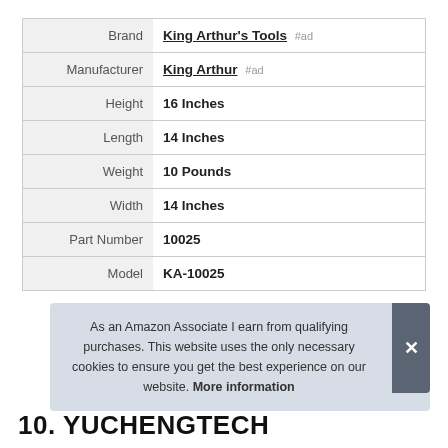|  |  |
| --- | --- |
| Brand | King Arthur's Tools #ad |
| Manufacturer | King Arthur #ad |
| Height | 16 Inches |
| Length | 14 Inches |
| Weight | 10 Pounds |
| Width | 14 Inches |
| Part Number | 10025 |
| Model | KA-10025 |
As an Amazon Associate I earn from qualifying purchases. This website uses the only necessary cookies to ensure you get the best experience on our website. More information
10. YUCHENGTECH